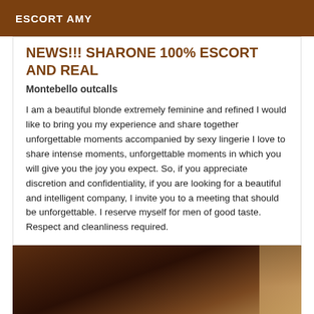ESCORT AMY
NEWS!!! SHARONE 100% ESCORT AND REAL
Montebello outcalls
I am a beautiful blonde extremely feminine and refined I would like to bring you my experience and share together unforgettable moments accompanied by sexy lingerie I love to share intense moments, unforgettable moments in which you will give you the joy you expect. So, if you appreciate discretion and confidentiality, if you are looking for a beautiful and intelligent company, I invite you to a meeting that should be unforgettable. I reserve myself for men of good taste. Respect and cleanliness required.
[Figure (photo): Dark blurry photo, appears to show a dimly lit scene with warm tones.]